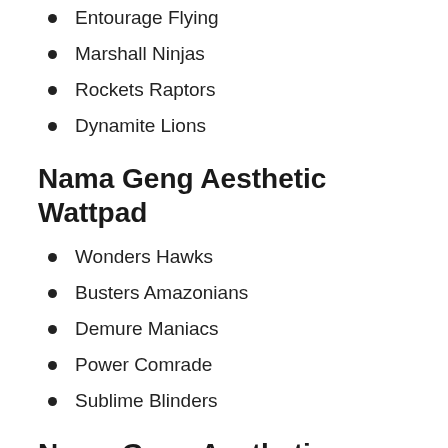Entourage Flying
Marshall Ninjas
Rockets Raptors
Dynamite Lions
Nama Geng Aesthetic Wattpad
Wonders Hawks
Busters Amazonians
Demure Maniacs
Power Comrade
Sublime Blinders
Nama Geng Aesthetic Untuk Perempuan